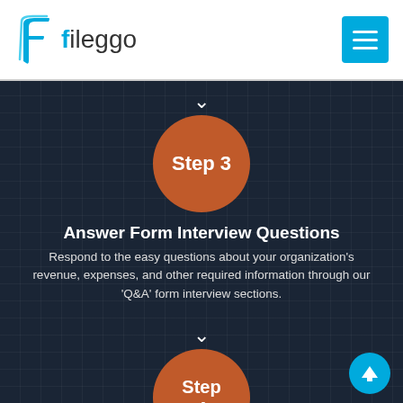[Figure (logo): Fileggo logo with stylized blue F icon and text 'fileggo']
[Figure (illustration): Cyan/teal hamburger menu button]
[Figure (infographic): Step 3 orange circle with downward chevron above]
Answer Form Interview Questions
Respond to the easy questions about your organization's revenue, expenses, and other required information through our 'Q&A' form interview sections.
[Figure (infographic): Step 4 orange circle with downward chevron above]
Review E-file Summary
[Figure (illustration): Cyan scroll-to-top arrow button]